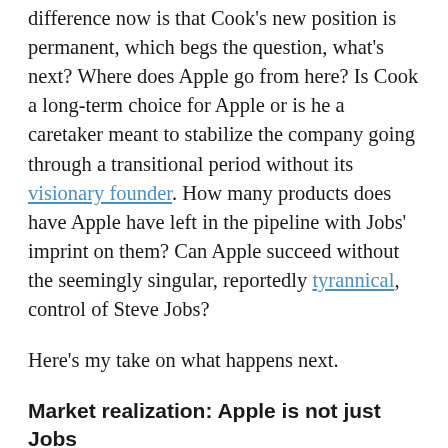difference now is that Cook's new position is permanent, which begs the question, what's next? Where does Apple go from here? Is Cook a long-term choice for Apple or is he a caretaker meant to stabilize the company going through a transitional period without its visionary founder. How many products does have Apple have left in the pipeline with Jobs' imprint on them? Can Apple succeed without the seemingly singular, reportedly tyrannical, control of Steve Jobs?
Here's my take on what happens next.
Market realization: Apple is not just Jobs
Wall Street reacted to Jobs' resignation with a 5 percent dip in the company's stock price in overnight trading, and most critics are anticipating a further decline. When Jobs went on medical leave